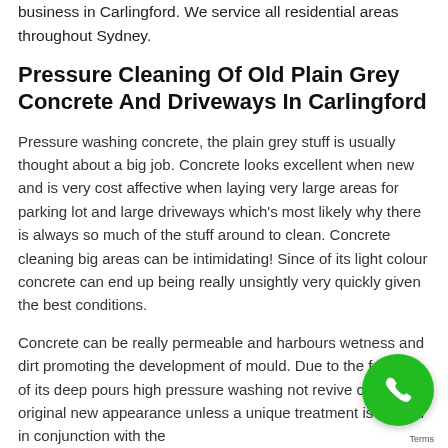business in Carlingford. We service all residential areas throughout Sydney.
Pressure Cleaning Of Old Plain Grey Concrete And Driveways In Carlingford
Pressure washing concrete, the plain grey stuff is usually thought about a big job. Concrete looks excellent when new and is very cost affective when laying very large areas for parking lot and large driveways which's most likely why there is always so much of the stuff around to clean. Concrete cleaning big areas can be intimidating! Since of its light colour concrete can end up being really unsightly very quickly given the best conditions.
Concrete can be really permeable and harbours wetness and dirt promoting the development of mould. Due to the fact that of its deep pours high pressure washing not revive concretes original new appearance unless a unique treatment is utilized in conjunction with the
[Figure (other): Green circular phone call button overlay in bottom right corner]